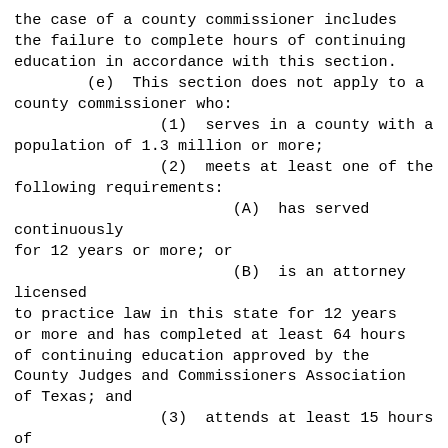the case of a county commissioner includes the failure to complete hours of continuing education in accordance with this section.
        (e)  This section does not apply to a county commissioner who:
                (1)  serves in a county with a population of 1.3 million or more;
                (2)  meets at least one of the following requirements:
                        (A)  has served continuously for 12 years or more; or
                        (B)  is an attorney licensed to practice law in this state for 12 years or more and has completed at least 64 hours of continuing education approved by the County Judges and Commissioners Association of Texas; and
                (3)  attends at least 15 hours of staff briefing on continuing education